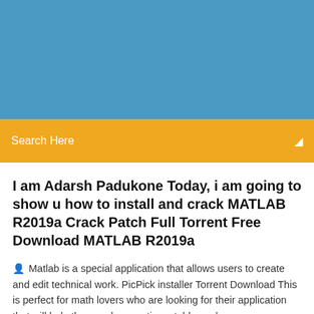[Figure (other): Blue header banner area at the top of the webpage]
Search Here
I am Adarsh Padukone Today, i am going to show u how to install and crack MATLAB R2019a Crack Patch Full Torrent Free Download MATLAB R2019a
Matlab is a special application that allows users to create and edit technical work. PicPick installer Torrent Download This is perfect for math lovers who are looking for their application that will help them make equations, tables... |